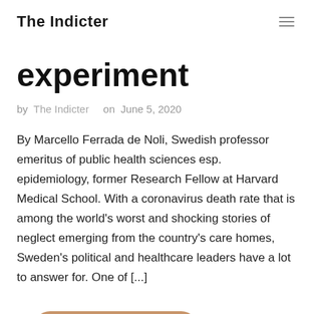The Indicter
experiment
by The Indicter   on  June 5, 2020
By Marcello Ferrada de Noli, Swedish professor emeritus of public health sciences esp. epidemiology, former Research Fellow at Harvard Medical School. With a coronavirus death rate that is among the world's worst and shocking stories of neglect emerging from the country's care homes, Sweden's political and healthcare leaders have a lot to answer for. One of [...]
Continue Reading →